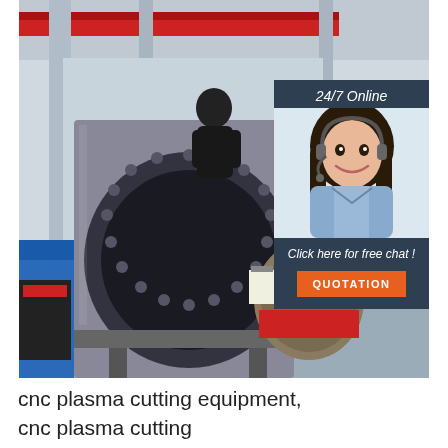[Figure (photo): Industrial CNC plasma cutting machine in a factory setting. A worker in dark clothing is positioned on top of the large cylindrical machine. Factory interior visible with overhead crane, equipment, and machinery. Overlaid in the top-right corner is a customer service chat widget showing '24/7 Online' text, photo of female customer service agent with headset, 'Click here for free chat!' text, and an orange 'QUOTATION' button — all on a dark navy background.]
cnc plasma cutting equipment, cnc plasma cutting